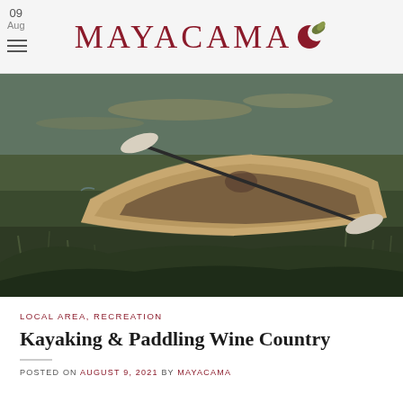09 Aug — MAYACAMA
[Figure (photo): A wooden canoe resting on grassy riverbank at the water's edge, with a kayak paddle resting across it. Black and white tones with warm golden tones on the canoe.]
LOCAL AREA, RECREATION
Kayaking & Paddling Wine Country
POSTED ON AUGUST 9, 2021 BY MAYACAMA